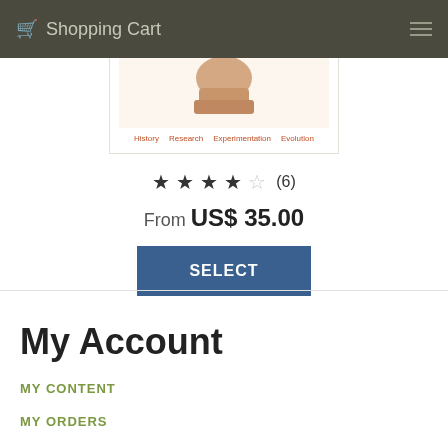Shopping Cart
[Figure (photo): Partial view of a book cover showing a hand and category labels: History, Research, Experimentation, Evolution]
★ ★ ★ ★ ☆ (6)
From US$ 35.00
SELECT
My Account
MY CONTENT
MY ORDERS